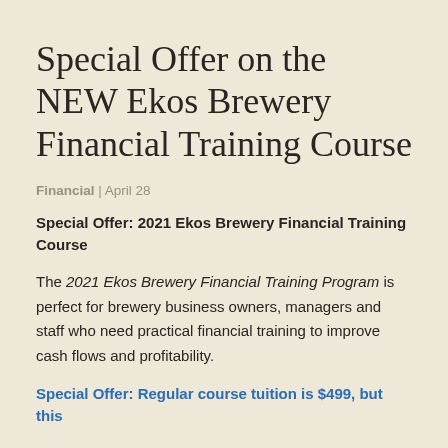Special Offer on the NEW Ekos Brewery Financial Training Course
Financial | April 28
Special Offer: 2021 Ekos Brewery Financial Training Course
The 2021 Ekos Brewery Financial Training Program is perfect for brewery business owners, managers and staff who need practical financial training to improve cash flows and profitability.
Special Offer: Regular course tuition is $499, but this